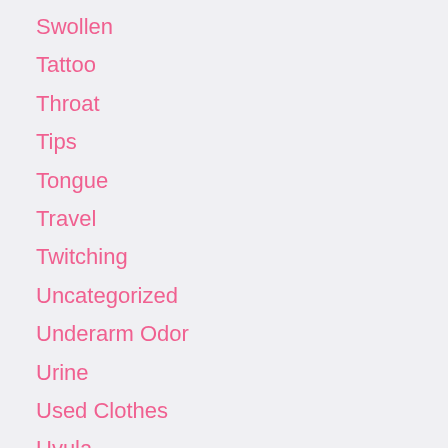Swollen
Tattoo
Throat
Tips
Tongue
Travel
Twitching
Uncategorized
Underarm Odor
Urine
Used Clothes
Uvula
Vagina